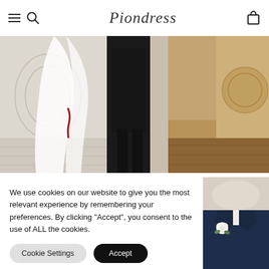Piondress
[Figure (photo): Wedding photo showing a bride in a white dress with veil and a groom in a dark suit walking through an ornate interior hall with marble columns and decorative floor]
We use cookies on our website to give you the most relevant experience by remembering your preferences. By clicking "Accept", you consent to the use of ALL the cookies.
[Figure (photo): Close-up photo of a groom in a navy suit with a white boutonniere flower, in a bright ornate venue]